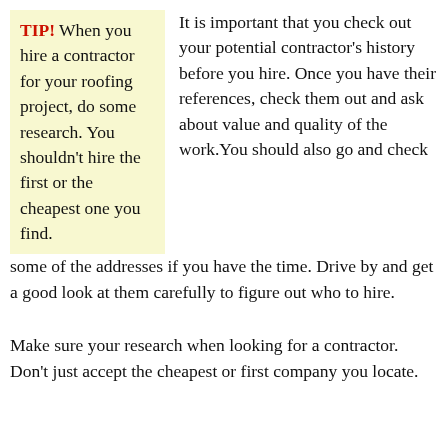TIP! When you hire a contractor for your roofing project, do some research. You shouldn't hire the first or the cheapest one you find.
It is important that you check out your potential contractor's history before you hire. Once you have their references, check them out and ask about value and quality of the work. You should also go and check some of the addresses if you have the time. Drive by and get a good look at them carefully to figure out who to hire.
Make sure your research when looking for a contractor. Don't just accept the cheapest or first company you locate.